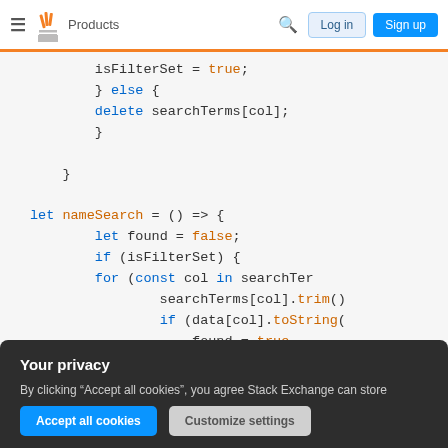≡  [Stack Overflow logo]  Products  🔍  Log in  Sign up
[Figure (screenshot): Code snippet showing JavaScript with keywords in blue (let, if, for, const, delete, else) and values in orange (true, false, nameSearch). Lines: isFilterSet = true; } else { delete searchTerms[col]; } } let nameSearch = () => { let found = false; if (isFilterSet) { for (const col in searchTer searchTerms[col].trim() if (data[col].toString( found = true } });]
Your privacy
By clicking "Accept all cookies", you agree Stack Exchange can store cookies on your device and disclose information in accordance with our Cookie Policy.
Accept all cookies
Customize settings
Follow